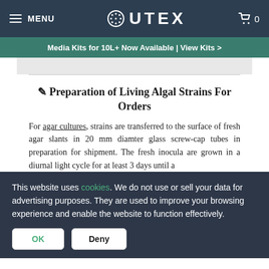MENU | UTEX | 0
Media Kits for 10L+ Now Available | View Kits >
✎ Preparation of Living Algal Strains For Orders
For agar cultures, strains are transferred to the surface of fresh agar slants in 20 mm diamter glass screw-cap tubes in preparation for shipment. The fresh inocula are grown in a diurnal light cycle for at least 3 days until a
This website uses cookies. We do not use or sell your data for advertising purposes. They are used to improve your browsing experience and enable the website to function effectively.